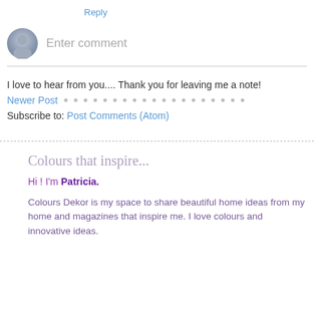Reply
[Figure (illustration): Comment input area with user avatar icon and 'Enter comment' placeholder text]
I love to hear from you.... Thank you for leaving me a note!
Newer Post
Subscribe to: Post Comments (Atom)
Colours that inspire...
Hi ! I'm Patricia.
Colours Dekor is my space to share beautiful home ideas from my home and magazines that inspire me. I love colours and innovative ideas.